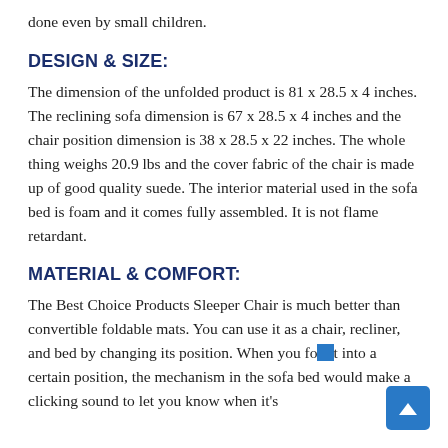done even by small children.
DESIGN & SIZE:
The dimension of the unfolded product is 81 x 28.5 x 4 inches. The reclining sofa dimension is 67 x 28.5 x 4 inches and the chair position dimension is 38 x 28.5 x 22 inches. The whole thing weighs 20.9 lbs and the cover fabric of the chair is made up of good quality suede. The interior material used in the sofa bed is foam and it comes fully assembled. It is not flame retardant.
MATERIAL & COMFORT:
The Best Choice Products Sleeper Chair is much better than convertible foldable mats. You can use it as a chair, recliner, and bed by changing its position. When you fold it into a certain position, the mechanism in the sofa bed would make a clicking sound to let you know when it's